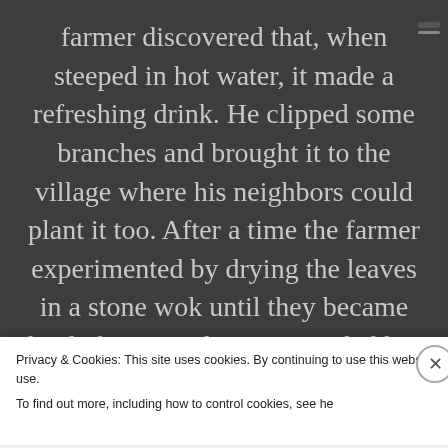farmer discovered that, when steeped in hot water, it made a refreshing drink. He clipped some branches and brought it to the village where his neighbors could plant it too. After a time the farmer experimented by drying the leaves in a stone wok until they became the dark, iron color. It reminded him so much of the Goddess, he named the tea, Ti Kuan Yin, Tea of the Iron Goddess of Mercy.
Privacy & Cookies: This site uses cookies. By continuing to use this website, you agree to their use.
To find out more, including how to control cookies, see he...
Close and accept